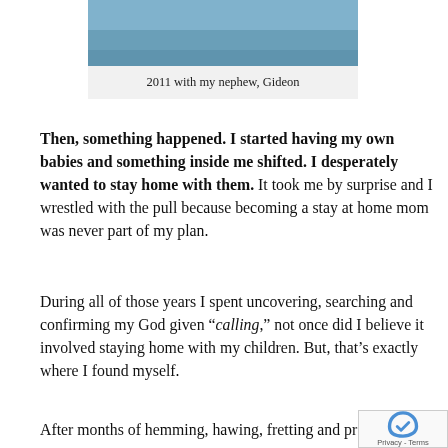[Figure (photo): Partial photo showing blue shirt/clothing, cropped at top of page]
2011 with my nephew, Gideon
Then, something happened. I started having my own babies and something inside me shifted. I desperately wanted to stay home with them. It took me by surprise and I wrestled with the pull because becoming a stay at home mom was never part of my plan.
During all of those years I spent uncovering, searching and confirming my God given “calling,” not once did I believe it involved staying home with my children. But, that’s exactly where I found myself.
After months of hemming, hawing, fretting and pr…